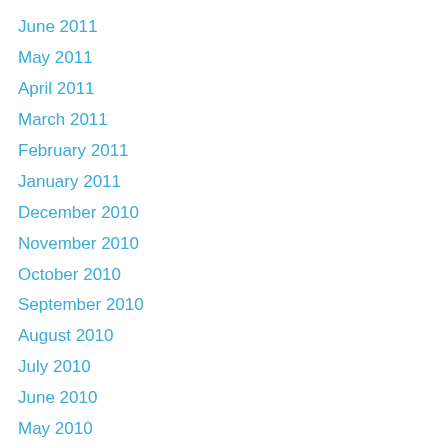June 2011
May 2011
April 2011
March 2011
February 2011
January 2011
December 2010
November 2010
October 2010
September 2010
August 2010
July 2010
June 2010
May 2010
March 2010
February 2010
January 2010
December 2009
November 2009
October 2009